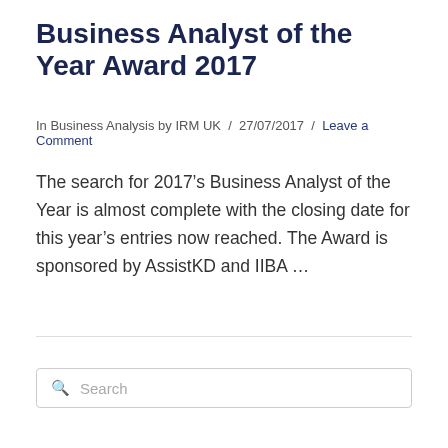Business Analyst of the Year Award 2017
In Business Analysis by IRM UK / 27/07/2017 / Leave a Comment
The search for 2017’s Business Analyst of the Year is almost complete with the closing date for this year’s entries now reached. The Award is sponsored by AssistKD and IIBA …